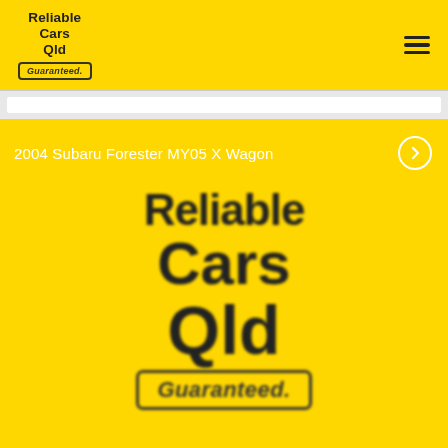Reliable Cars Qld Guaranteed.
2004 Subaru Forester MY05 X Wagon
[Figure (logo): Reliable Cars Qld Guaranteed. logo displayed large on yellow background, partially blurred as if zoomed in on a car listing image]